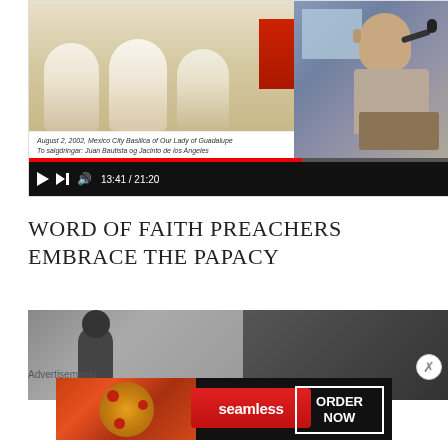[Figure (screenshot): Embedded video player screenshot showing two panels: left panel has a photo of a papal ceremony at Mexico City Basilica of Our Lady of Guadalupe dated August 2, 2002, with a caption about Juan Bautista og Jacinto de los Angeles; right panel shows a man speaking at a podium. Video controls show progress bar at 65%, time 13:41 / 21:20.]
August 2, 2002, Mexico City Basilica of Our Lady of Guadalupe
To salgdringar: Juan Bautista og Jacinto de los Angeles
WORD OF FAITH PREACHERS EMBRACE THE PAPACY
[Figure (screenshot): Partial screenshot of a second article image showing two panels, partially visible, with a dark background on the right.]
Advertisements
[Figure (screenshot): Advertisement banner for Seamless food delivery service showing pizza image on left, Seamless red logo in center, and ORDER NOW button on right with white border.]